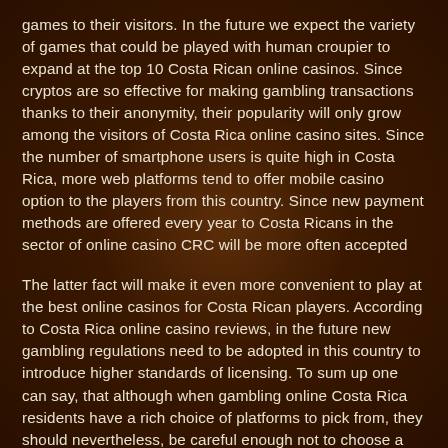games to their visitors. In the future we expect the variety of games that could be played with human croupier to expand at the top 10 Costa Rican online casinos. Since cryptos are so effective for making gambling transactions thanks to their anonymity, their popularity will only grow among the visitors of Costa Rica online casino sites. Since the number of smartphone users is quite high in Costa Rica, more web platforms tend to offer mobile casino option to the players from this country. Since new payment methods are offered every year to Costa Ricans in the sector of online casino CRC will be more often accepted
The latter fact will make it even more convenient to play at the best online casinos for Costa Rican players. According to Costa Rica online casino reviews, in the future new gambling regulations need to be adopted in this country to introduce higher standards of licensing. To sum up one can say, that although when gambling online Costa Rica residents have a rich choice of platforms to pick from, they should nevertheless, be careful enough not to choose a low-quality casino website. We